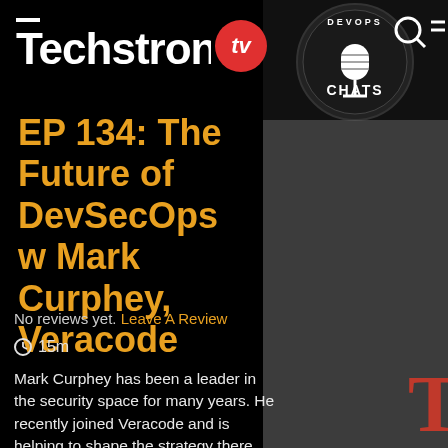[Figure (logo): Techstrong.tv logo with white text and red circle badge with 'tv']
EP 134: The Future of DevSecOps w Mark Curphey, Veracode
No reviews yet. Leave A Review
⏱ 15m
Mark Curphey has been a leader in the security space for many years. He recently joined Veracode and is helping to shape the strategy there. He has some great thoughts on the future of DevSecOps and AppSec. In this interview we speak with Mark about his vision and thoughts on the future of DevSecOps
[Figure (logo): DevOps Chats logo with microphone graphic, dark background, shown on right side]